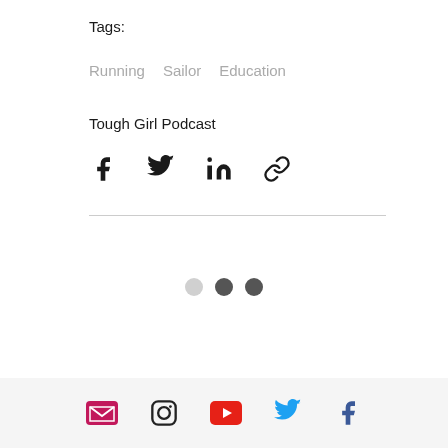Tags:
Running   Sailor   Education
Tough Girl Podcast
[Figure (infographic): Social share icons: Facebook, Twitter, LinkedIn, Link]
[Figure (infographic): Pagination dots: one light grey dot, one dark grey dot, one darker grey dot]
Social media icons: Email, Instagram, YouTube, Twitter, Facebook